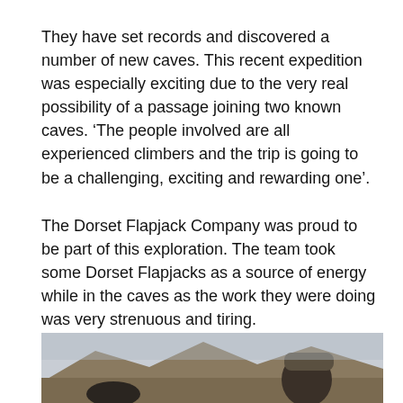They have set records and discovered a number of new caves. This recent expedition was especially exciting due to the very real possibility of a passage joining two known caves. ‘The people involved are all experienced climbers and the trip is going to be a challenging, exciting and rewarding one’.
The Dorset Flapjack Company was proud to be part of this exploration. The team took some Dorset Flapjacks as a source of energy while in the caves as the work they were doing was very strenuous and tiring.
[Figure (photo): A photo showing a person wearing a dark beanie hat and gloves in a rocky, mountainous outdoor landscape. The background shows hills/mountains under an overcast sky.]